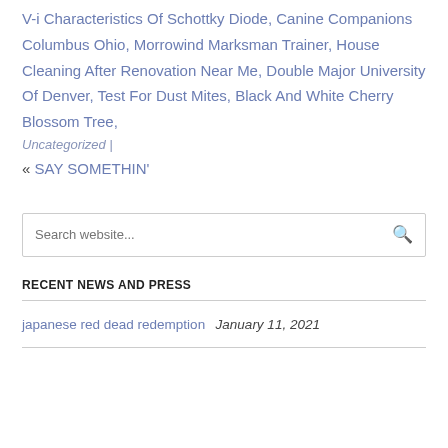V-i Characteristics Of Schottky Diode, Canine Companions Columbus Ohio, Morrowind Marksman Trainer, House Cleaning After Renovation Near Me, Double Major University Of Denver, Test For Dust Mites, Black And White Cherry Blossom Tree,
Uncategorized |
« SAY SOMETHIN'
Search website...
RECENT NEWS AND PRESS
japanese red dead redemption   January 11, 2021